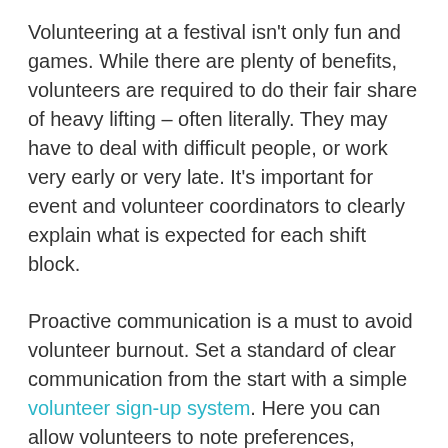Volunteering at a festival isn't only fun and games. While there are plenty of benefits, volunteers are required to do their fair share of heavy lifting – often literally. They may have to deal with difficult people, or work very early or very late. It's important for event and volunteer coordinators to clearly explain what is expected for each shift block.
Proactive communication is a must to avoid volunteer burnout. Set a standard of clear communication from the start with a simple volunteer sign-up system. Here you can allow volunteers to note preferences, limitations, and see their respective duties in one place.
Have fun
In the end, a little bit of chaos is inevitable. Festivals